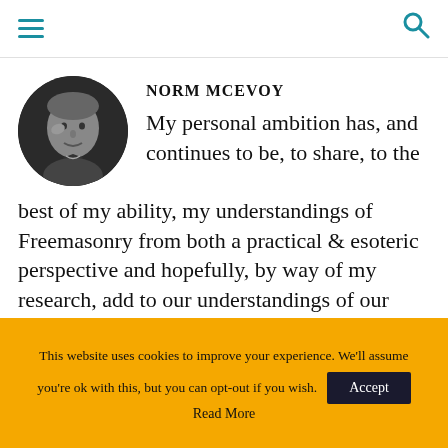[hamburger menu icon] [search icon]
NORM MCEVOY
[Figure (photo): Black and white circular portrait photo of an older man touching his temple, wearing a bow tie]
My personal ambition has, and continues to be, to share, to the best of my ability, my understandings of Freemasonry from both a practical & esoteric perspective and hopefully, by way of my research, add to our understandings of our wonderful craft. To those Brethren who have created papers that they feel are worth sharing, please share them with me and together we can
This website uses cookies to improve your experience. We'll assume you're ok with this, but you can opt-out if you wish. Accept Read More